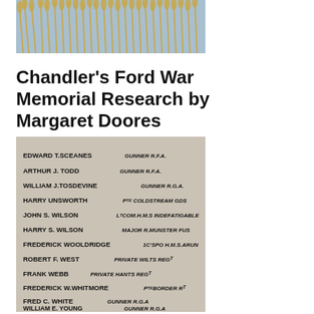[Figure (photo): Photograph of tall dry grass or reeds against a blue sky background]
Chandler's Ford War Memorial Research by Margaret Doores
[Figure (photo): Close-up photograph of a war memorial stone engraved with names: EDWARD T. SCEANES GUNNER R.F.A., ARTHUR J. TODD GUNNER R.F.A., WILLIAM J. TOSDEVINE GUNNER R.G.A., HARRY UNSWORTH PTE COLDSTREAM GDS, JOHN S. WILSON LT COM. H.M.S. INDEFATIGABLE, HARRY S. WILSON MAJOR R. MUNSTER FUS, FREDERICK WOOLDRIDGE 1C'S PO H.M.S. ARUN, ROBERT F. WEST PRIVATE WILTS REGT, FRANK WEBB PRIVATE HANTS REGT, FREDERICK W. WHITMORE PTE BORDER RT, FRED C. WHITE GUNNER R.G.A., WILLIAM E. YOUNG GUNNER R.G.A.]